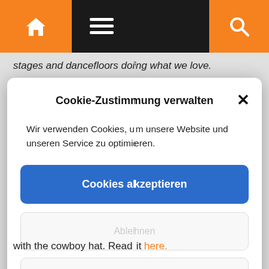[Figure (screenshot): Website navigation bar with orange home icon, hamburger menu icon, and orange search icon on dark background]
stages and dancefloors doing what we love.
Cookie-Zustimmung verwalten
Wir verwenden Cookies, um unsere Website und unseren Service zu optimieren.
Cookies akzeptieren
Ablehnen
Einstellungen anzeigen
Datenschutzerklärung   Impressum
with the cowboy hat. Read it here.